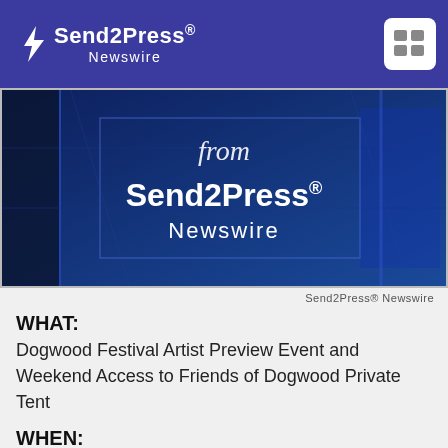Send2Press Newswire
[Figure (screenshot): Send2Press Newswire banner image showing blue toned background with text 'from Send2Press® Newswire']
Send2Press® Newswire
WHAT:
Dogwood Festival Artist Preview Event and Weekend Access to Friends of Dogwood Private Tent
WHEN:
Artist Preview Event: Thursday, April 3 onsite within the Finlandia Art Bar, 6:30 –